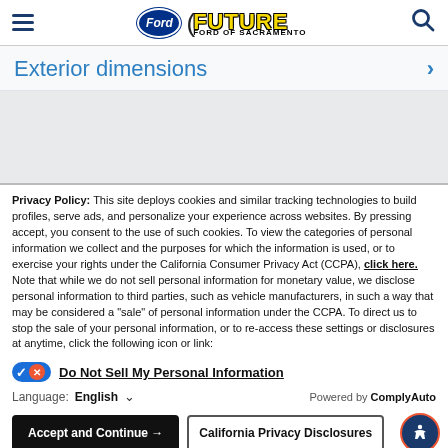[Figure (logo): Future Ford of Sacramento logo with hamburger menu and search icon in header]
Exterior dimensions
Privacy Policy: This site deploys cookies and similar tracking technologies to build profiles, serve ads, and personalize your experience across websites. By pressing accept, you consent to the use of such cookies. To view the categories of personal information we collect and the purposes for which the information is used, or to exercise your rights under the California Consumer Privacy Act (CCPA), click here. Note that while we do not sell personal information for monetary value, we disclose personal information to third parties, such as vehicle manufacturers, in such a way that may be considered a "sale" of personal information under the CCPA. To direct us to stop the sale of your personal information, or to re-access these settings or disclosures at anytime, click the following icon or link:
Do Not Sell My Personal Information
Language: English — Powered by ComplyAuto
Accept and Continue → | California Privacy Disclosures